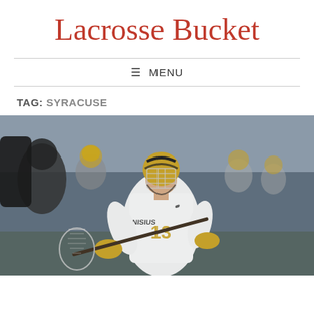Lacrosse Bucket
≡ MENU
TAG: SYRACUSE
[Figure (photo): A lacrosse player wearing a gold/black helmet and Canisius #13 white jersey holding a lacrosse stick, with teammates in gold helmets visible in the background]